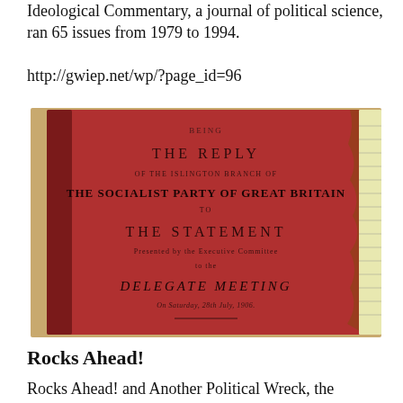Ideological Commentary, a journal of political science, ran 65 issues from 1979 to 1994.
http://gwiep.net/wp/?page_id=96
[Figure (photo): Photo of a red booklet cover titled 'Being The Reply of the Islington Branch of The Socialist Party of Great Britain to The Statement Presented by the Executive Committee to the Delegate Meeting On Saturday, 28th July, 1906.']
Rocks Ahead!
Rocks Ahead! and Another Political Wreck, the